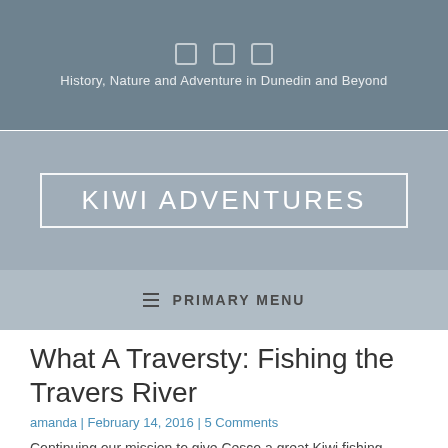History, Nature and Adventure in Dunedin and Beyond
KIWI ADVENTURES
PRIMARY MENU
What A Traversty: Fishing the Travers River
amanda | February 14, 2016 | 5 Comments
Continuing our mission to give Cesco a great Kiwi fishing